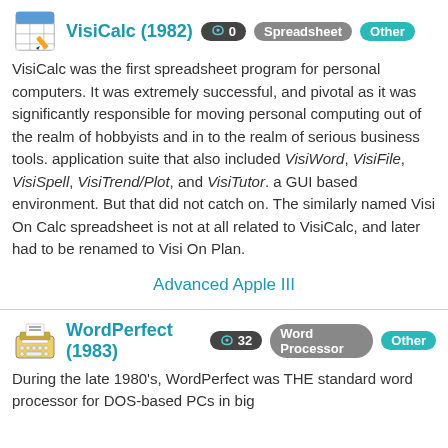VisiCalc (1982)
VisiCalc was the first spreadsheet program for personal computers. It was extremely successful, and pivotal as it was significantly responsible for moving personal computing out of the realm of hobbyists and in to the realm of serious business tools. application suite that also included VisiWord, VisiFile, VisiSpell, VisiTrend/Plot, and VisiTutor. a GUI based environment. But that did not catch on. The similarly named Visi On Calc spreadsheet is not at all related to VisiCalc, and later had to be renamed to Visi On Plan.
Advanced Apple III
WordPerfect (1983)
During the late 1980's, WordPerfect was THE standard word processor for DOS-based PCs in big